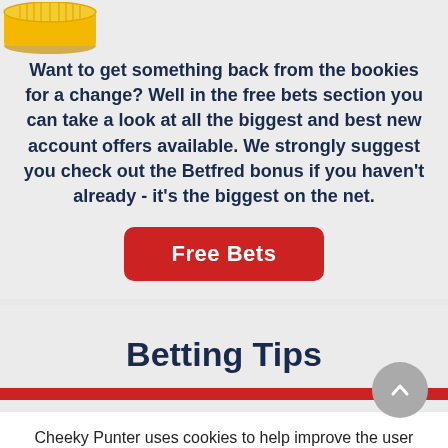[Figure (illustration): Gold coin illustration at the top of the card]
Want to get something back from the bookies for a change? Well in the free bets section you can take a look at all the biggest and best new account offers available. We strongly suggest you check out the Betfred bonus if you haven't already - it's the biggest on the net.
Free Bets
Betting Tips
Cheeky Punter uses cookies to help improve the user experience on our website - for more see our privacy policy.
OK - that's fine!